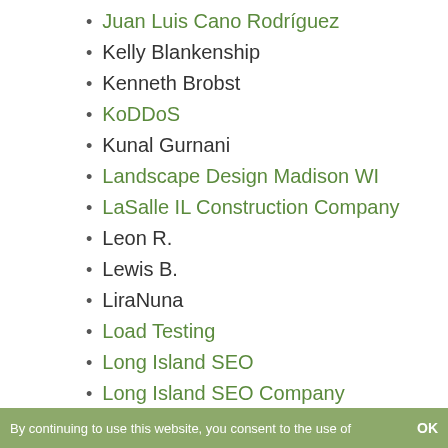Juan Luis Cano Rodríguez
Kelly Blankenship
Kenneth Brobst
KoDDoS
Kunal Gurnani
Landscape Design Madison WI
LaSalle IL Construction Company
Leon R.
Lewis B.
LiraNuna
Load Testing
Long Island SEO
Long Island SEO Company
Long Island Web Design
Long Island Web Design Company
By continuing to use this website, you consent to the use of   OK